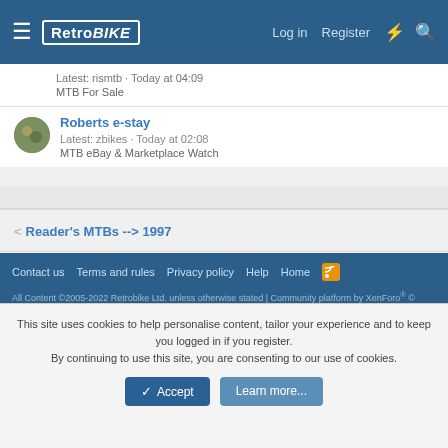RetroBIKE | Log in | Register
Latest: rismtb · Today at 04:09
MTB For Sale
Roberts e-stay
Latest: zbikes · Today at 02:08
MTB eBay & Marketplace Watch
Reader's MTBs --> 1997
Contact us  Terms and rules  Privacy policy  Help  Home
All Content ©2005-2022 Retrobike Ltd. unless otherwise stated | Community platform by XenForo® © 2010-2022 XenForo Ltd.
This site uses cookies to help personalise content, tailor your experience and to keep you logged in if you register.
By continuing to use this site, you are consenting to our use of cookies.